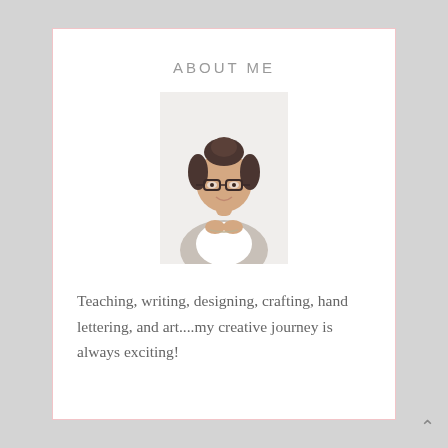ABOUT ME
[Figure (photo): Portrait photo of a woman with dark hair in a bun, wearing glasses and a light gray cardigan, hands clasped near chin, smiling, light background.]
Teaching, writing, designing, crafting, hand lettering, and art....my creative journey is always exciting!